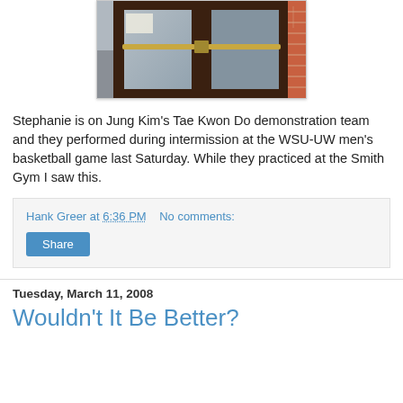[Figure (photo): Photo of double glass doors with dark brown/wood frames and gold push bars, viewed from inside a brick building looking out to a parking lot. Brick wall visible on right side.]
Stephanie is on Jung Kim's Tae Kwon Do demonstration team and they performed during intermission at the WSU-UW men's basketball game last Saturday. While they practiced at the Smith Gym I saw this.
Hank Greer at 6:36 PM   No comments:
Share
Tuesday, March 11, 2008
Wouldn't It Be Better?